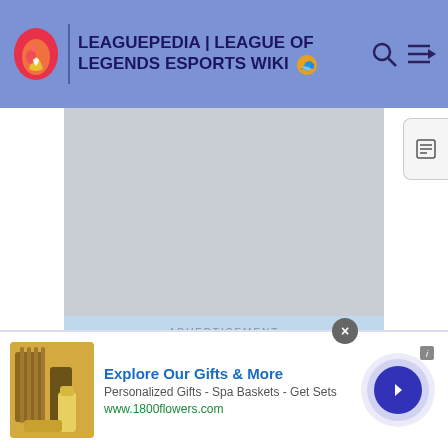LEAGUEPEDIA | LEAGUE OF LEGENDS ESPORTS WIKI
[Figure (other): Advertisement placeholder area with light blue/gray background and ADVERTISEMENT label]
Abilities
[Figure (other): Bottom banner advertisement for 1800flowers.com: Explore Our Gifts & More - Personalized Gifts - Spa Baskets - Get Sets]